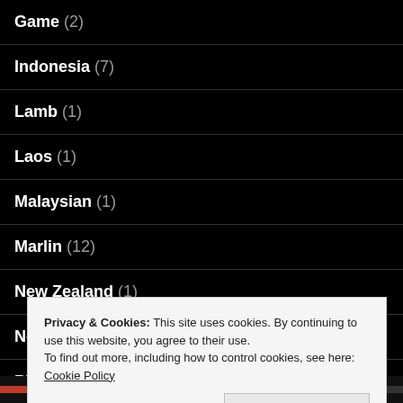Game (2)
Indonesia (7)
Lamb (1)
Laos (1)
Malaysian (1)
Marlin (12)
New Zealand (1)
No-Cook Bliss Balls and Slices (11)
Pickled food (2)
Privacy & Cookies: This site uses cookies. By continuing to use this website, you agree to their use.
To find out more, including how to control cookies, see here: Cookie Policy
Close and accept